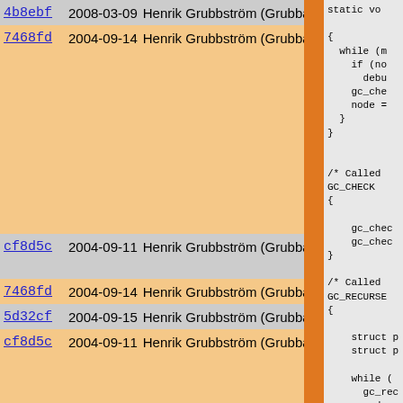| Hash | Date | Author | Code |
| --- | --- | --- | --- |
| 4b8ebf | 2008-03-09 | Henrik Grubbström (Grubba) | static vo |
| 7468fd | 2004-09-14 | Henrik Grubbström (Grubba) | {
  while (n
    if (no
      debu
    gc_che
    node =
  }
} |
| cf8d5c | 2004-09-11 | Henrik Grubbström (Grubba) | /* Called
GC_CHECK
{ |
| 7468fd | 2004-09-14 | Henrik Grubbström (Grubba) |     gc_chec |
| 5d32cf | 2004-09-15 | Henrik Grubbström (Grubba) |     gc_chec |
| cf8d5c | 2004-09-11 | Henrik Grubbström (Grubba) | }

/* Called
GC_RECURSE
{ |
| 4b8ebf | 2008-03-09 | Henrik Grubbström (Grubba) |     struct p
    struct p |
| cf8d5c | 2004-09-11 | Henrik Grubbström (Grubba) |     while (
      gc_rec
      node = |